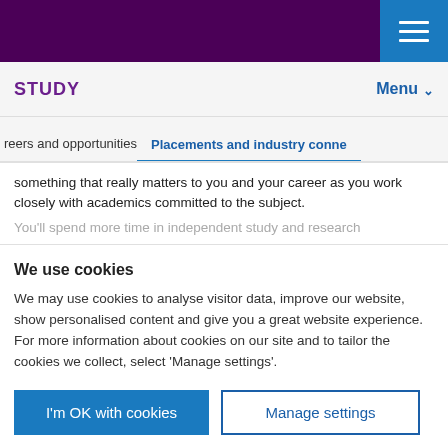STUDY | Menu
reers and opportunities | Placements and industry conne
something that really matters to you and your career as you work closely with academics committed to the subject.
You'll spend more time in independent study and research
We use cookies
We may use cookies to analyse visitor data, improve our website, show personalised content and give you a great website experience. For more information about cookies on our site and to tailor the cookies we collect, select 'Manage settings'.
I'm OK with cookies | Manage settings